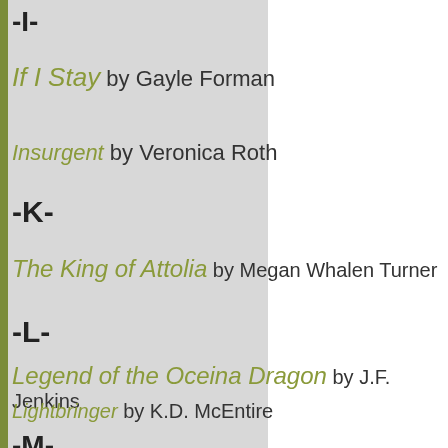-I-
If I Stay by Gayle Forman
Insurgent by Veronica Roth
-K-
The King of Attolia by Megan Whalen Turner
-L-
Legend of the Oceina Dragon by J.F. Jenkins
Lightbringer by K.D. McEntire
-M-